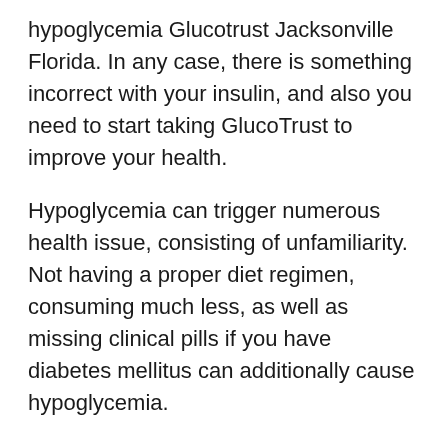hypoglycemia Glucotrust Jacksonville Florida. In any case, there is something incorrect with your insulin, and also you need to start taking GlucoTrust to improve your health.
Hypoglycemia can trigger numerous health issue, consisting of unfamiliarity. Not having a proper diet regimen, consuming much less, as well as missing clinical pills if you have diabetes mellitus can additionally cause hypoglycemia.
So if you are somebody that fails to remember to take their diabetic pills or is consuming less than typical, you need to think about utilizing GlucoTrust. Consuming GlucoTrust will advertise healthy blood flow, reduce yearnings for sugar, and